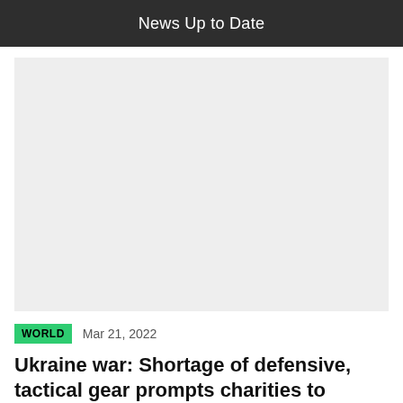News Up to Date
[Figure (photo): Large image placeholder area with light gray background, representing a news article photo.]
WORLD   Mar 21, 2022
Ukraine war: Shortage of defensive, tactical gear prompts charities to search for much-needed